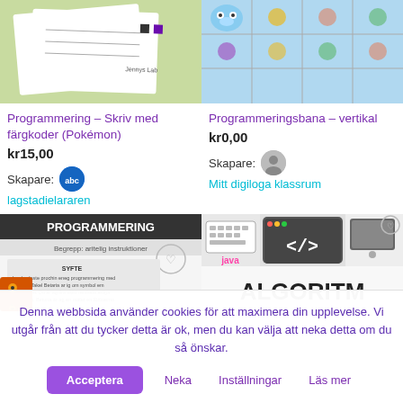[Figure (photo): Product image for Programmering - Skriv med färgkoder (Pokémon), showing worksheet with color codes on green background]
[Figure (photo): Product image for Programmeringsbana - vertikal, showing programming board game with robot]
Programmering – Skriv med färgkoder (Pokémon)
Programmeringsbana – vertikal
kr15,00
kr0,00
Skapare:
Skapare:
lagstadielararen
Mitt digiloga klassrum
[Figure (photo): Product image showing PROGRAMMERING worksheet with pumpkin character]
[Figure (photo): Product image showing ALGORITM text with coding icons including Java, keyboard, and code brackets]
Denna webbsida använder cookies för att maximera din upplevelse. Vi utgår från att du tycker detta är ok, men du kan välja att neka detta om du så önskar.
Acceptera
Neka
Inställningar
Läs mer